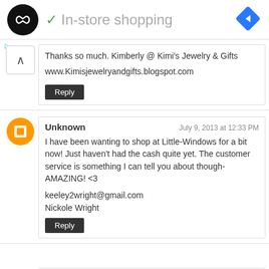[Figure (screenshot): Header bar with circular logo, 'In-store shopping' text with checkmark, and blue diamond navigation icon]
Thanks so much. Kimberly @ Kimi's Jewelry & Gifts

www.Kimisjewelryandgifts.blogspot.com
Reply
Unknown
July 9, 2013 at 12:33 PM
I have been wanting to shop at Little-Windows for a bit now! Just haven't had the cash quite yet. The customer service is something I can tell you about though- AMAZING! <3

keeley2wright@gmail.com
Nickole Wright
Reply
The Beading Gem
July 9, 2013 at 12:44 PM